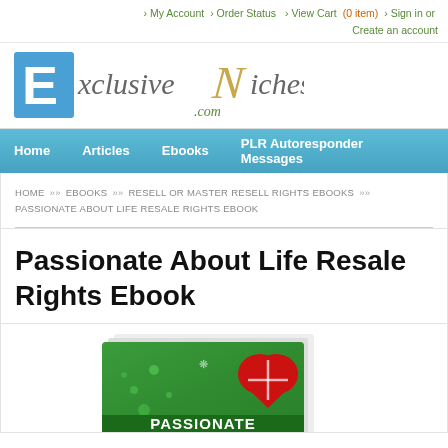▸ My Account ▸ Order Status ▸ View Cart (0 item) ▸ Sign in or Create an account
[Figure (logo): ExclusiveNiches.com logo with blue letter E and decorative N in gold/olive]
Home   Articles   Ebooks   PLR Autoresponder Messages
HOME »» EBOOKS »» RESELL OR MASTER RESELL RIGHTS EBOOKS »» PASSIONATE ABOUT LIFE RESALE RIGHTS EBOOK
Passionate About Life Resale Rights Ebook
[Figure (photo): Green ebook cover with red heart graphic and text 'PASSIONATE' visible at bottom]